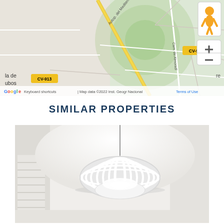[Figure (map): Google Maps view showing roads near CV-913, CV-921B, Autop. del Mediterrán., Cam. de Almoradí, la de ubos area, with green circular overlay indicating a radius zone. Map controls include pegman icon, zoom in (+) and zoom out (-) buttons. Bottom bar shows Google logo, Keyboard shortcuts, Map data ©2022 Inst. Geogr Nacional, Terms of Use.]
SIMILAR PROPERTIES
[Figure (photo): Interior room photo showing a white decorative pendant lamp with ribbed/segmented oval shape hanging from ceiling. Bright white room with window blinds visible on the left.]